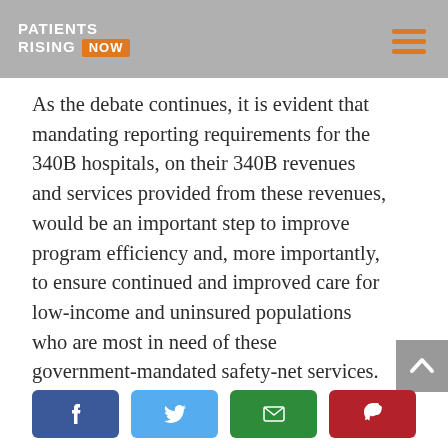PATIENTS RISING NOW
As the debate continues, it is evident that mandating reporting requirements for the 340B hospitals, on their 340B revenues and services provided from these revenues, would be an important step to improve program efficiency and, more importantly, to ensure continued and improved care for low-income and uninsured populations who are most in need of these government-mandated safety-net services.